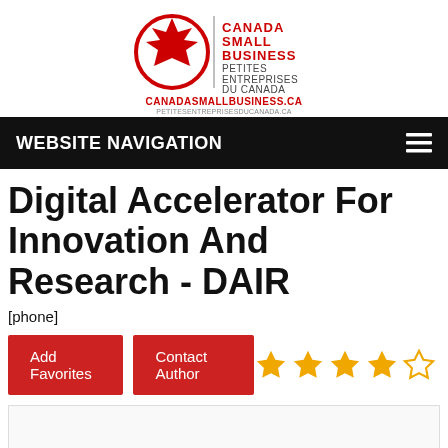[Figure (logo): Canada Small Business / Petites Entreprises du Canada logo with maple leaf globe icon and website URL canadasmallbusiness.ca]
WEBSITE NAVIGATION
Digital Accelerator For Innovation And Research - DAIR
[phone]
Add Favorites   Contact Author
[Figure (other): 4 out of 5 star rating shown with gold filled stars and one empty star outline]